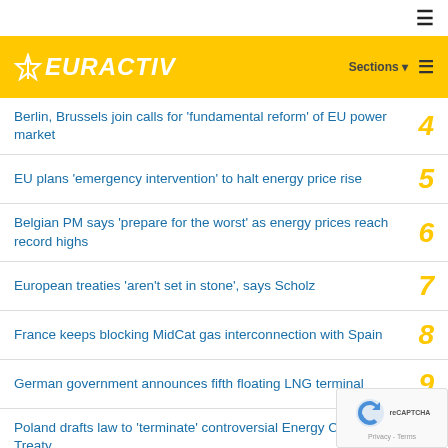EURACTIV
Berlin, Brussels join calls for 'fundamental reform' of EU power market
EU plans 'emergency intervention' to halt energy price rise
Belgian PM says 'prepare for the worst' as energy prices reach record highs
European treaties 'aren't set in stone', says Scholz
France keeps blocking MidCat gas interconnection with Spain
German government announces fifth floating LNG terminal
Poland drafts law to 'terminate' controversial Energy Charter Treaty